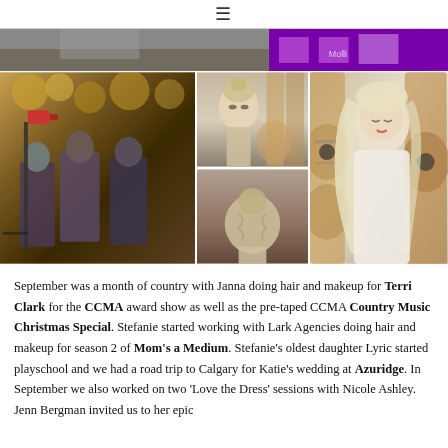≡
[Figure (photo): Top strip photo collage: left side shows a person outdoors, right side shows a purple/pink lit background with partial text]
[Figure (photo): Photo grid with three sections: left shows a film crew outdoors with fall foliage, center-top shows a woman facing forward with an updo hairstyle against guitar backgrounds, center-bottom shows back of woman's head with updo, right shows a blonde woman in white sweater looking down next to acoustic guitars]
September was a month of country with Janna doing hair and makeup for Terri Clark for the CCMA award show as well as the pre-taped CCMA Country Music Christmas Special. Stefanie started working with Lark Agencies doing hair and makeup for season 2 of Mom's a Medium. Stefanie's oldest daughter Lyric started playschool and we had a road trip to Calgary for Katie's wedding at Azuridge. In September we also worked on two 'Love the Dress' sessions with Nicole Ashley. Jenn Bergman invited us to her epic